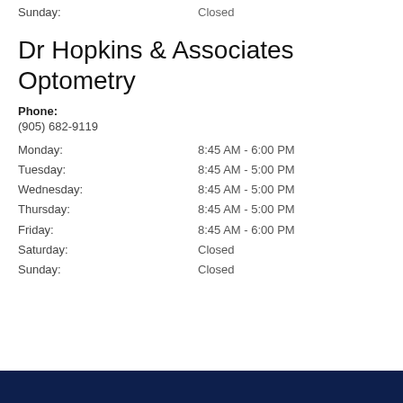Sunday: Closed
Dr Hopkins & Associates Optometry
Phone: (905) 682-9119
Monday: 8:45 AM - 6:00 PM
Tuesday: 8:45 AM - 5:00 PM
Wednesday: 8:45 AM - 5:00 PM
Thursday: 8:45 AM - 5:00 PM
Friday: 8:45 AM - 6:00 PM
Saturday: Closed
Sunday: Closed